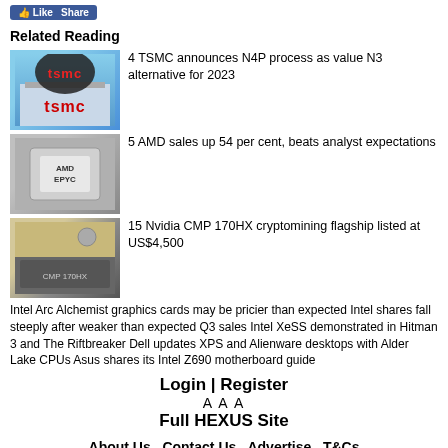[Figure (screenshot): Facebook like/share button]
Related Reading
[Figure (photo): TSMC logo on building with blue sky background]
4 TSMC announces N4P process as value N3 alternative for 2023
[Figure (photo): AMD EPYC processor chip]
5 AMD sales up 54 per cent, beats analyst expectations
[Figure (photo): Nvidia CMP 170HX cryptomining card]
15 Nvidia CMP 170HX cryptomining flagship listed at US$4,500
Intel Arc Alchemist graphics cards may be pricier than expected Intel shares fall steeply after weaker than expected Q3 sales Intel XeSS demonstrated in Hitman 3 and The Riftbreaker Dell updates XPS and Alienware desktops with Alder Lake CPUs Asus shares its Intel Z690 motherboard guide
Login | Register
A A A
Full HEXUS Site
About Us  Contact Us  Advertise  T&Cs